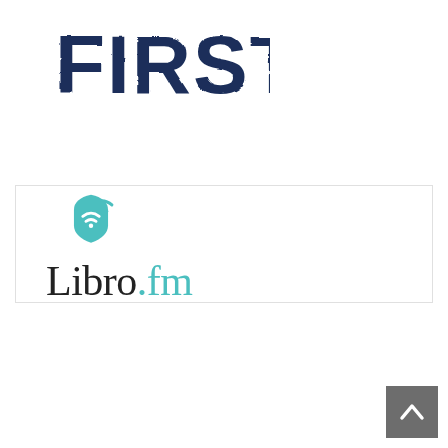[Figure (logo): FIRST logo in dark navy blue distressed/grunge block capital letters]
[Figure (logo): Libro.fm logo: teal book/shield icon with wifi signal arcs above, text reads 'Libro.fm' with 'Libro' in dark charcoal serif and '.fm' in teal, inside a white rectangle with light border]
[Figure (other): Gray back-to-top button with white upward chevron arrow in bottom right corner]